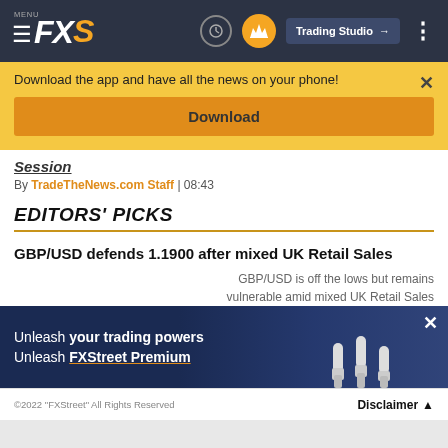MENU FXS Trading Studio
Download the app and have all the news on your phone!
Download
Session
By TradeTheNews.com Staff | 08:43
EDITORS' PICKS
GBP/USD defends 1.1900 after mixed UK Retail Sales
GBP/USD is off the lows but remains vulnerable amid mixed UK Retail Sales
[Figure (screenshot): FXStreet Premium advertisement banner with fists graphic — 'Unleash your trading powers Unleash FXStreet Premium']
©2022 "FXStreet" All Rights Reserved   Disclaimer